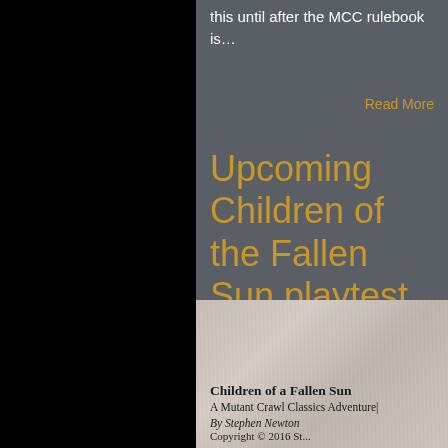this until after the MCC rulebook is…
Read More
Upcoming Children of the Fallen Sun playtest sessions
[Figure (photo): Photo of a book cover: Children of a Fallen Sun, A Mutant Crawl Classics Adventure, By Stephen Newton, Copyright © 2016 St...]
Children of a Fallen Sun
A Mutant Crawl Classics Adventure
By Stephen Newton
Copyright © 2016 St...